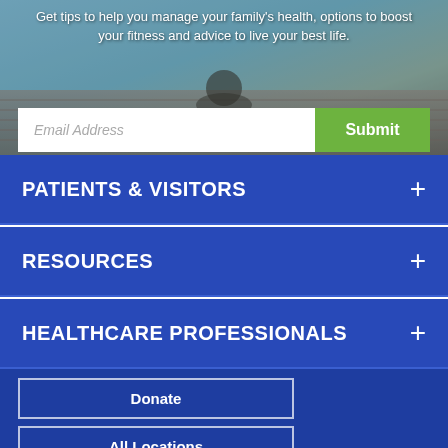[Figure (photo): Hero background image showing a person meditating on a wooden deck near water, with teal/blue tones]
Get tips to help you manage your family's health, options to boost your fitness and advice to live your best life.
Email Address
Submit
PATIENTS & VISITORS
RESOURCES
HEALTHCARE PROFESSIONALS
Donate
All Locations
The Landing